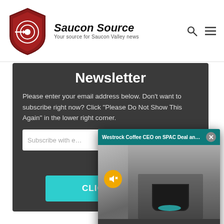[Figure (logo): Saucon Source logo: red shield with target/arrow icon on left, bold italic 'Saucon Source' text, tagline 'Your source for Saucon Valley news', search and menu icons on right]
Newsletter
Please enter your email address below. Don't want to subscribe right now? Click "Please Do Not Show This Again" in the lower right corner.
Subscribe with e…
CLICK HERE
[Figure (screenshot): Video popup overlay with teal header bar reading 'Westrock Coffee CEO on SPAC Deal and ...' with close button (X), mute button (yellow circle with speaker icon), and espresso machine photo below]
Please do not show this again